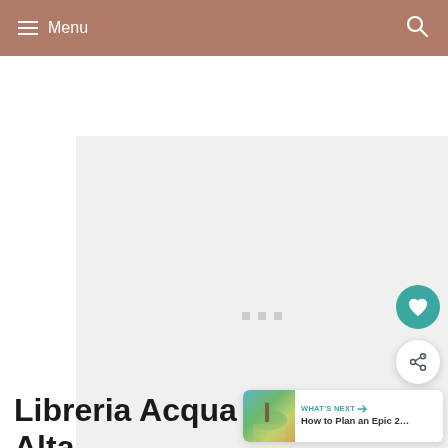Menu
[Figure (photo): Large image placeholder (grey/white loading state) for Libreria Acqua Alta article]
Libreria Acqua Alta,